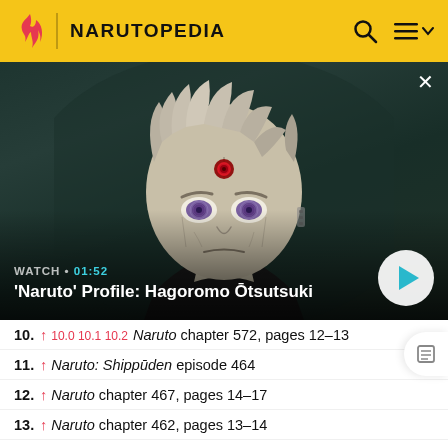NARUTOPEDIA
[Figure (screenshot): Anime screenshot of Hagoromo Otsutsuki, an old man with light hair, facial markings, a Rinnegan third eye on forehead, and intense purple eyes, from the Naruto series.]
WATCH • 01:52
'Naruto' Profile: Hagoromo Ōtsutsuki
10. ↑ 10.0 10.1 10.2 Naruto chapter 572, pages 12–13
11. ↑ Naruto: Shippūden episode 464
12. ↑ Naruto chapter 467, pages 14–17
13. ↑ Naruto chapter 462, pages 13–14
14. ↑ Naruto chapter 681, page 10